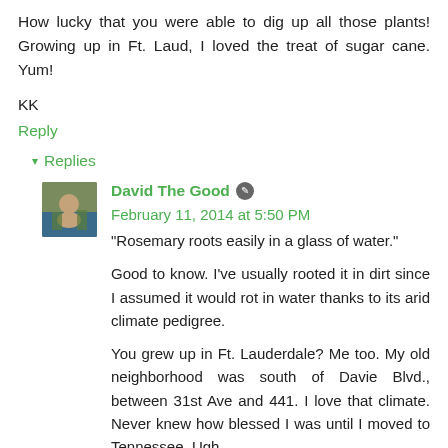How lucky that you were able to dig up all those plants! Growing up in Ft. Laud, I loved the treat of sugar cane. Yum!
KK
Reply
▾ Replies
David The Good  February 11, 2014 at 5:50 PM
"Rosemary roots easily in a glass of water."
Good to know. I've usually rooted it in dirt since I assumed it would rot in water thanks to its arid climate pedigree.
You grew up in Ft. Lauderdale? Me too. My old neighborhood was south of Davie Blvd., between 31st Ave and 441. I love that climate. Never knew how blessed I was until I moved to Tennessee. Ugh.